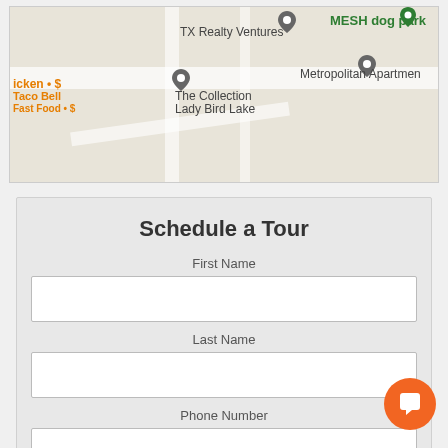[Figure (screenshot): Google Maps screenshot showing TX Realty Ventures, MESH dog park, The Collection Lady Bird Lake, Metropolitan Apartments, Taco Bell Fast Food markers]
Schedule a Tour
First Name
Last Name
Phone Number
Email